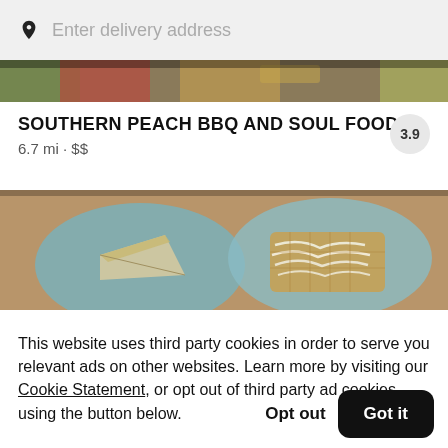Enter delivery address
[Figure (photo): Partial view of colorful food dishes from above, cropped at top]
SOUTHERN PEACH BBQ AND SOUL FOOD
6.7 mi • $$
[Figure (photo): Overhead view of plates with desserts including a slice of pie and a drizzled pastry on blue plates]
This website uses third party cookies in order to serve you relevant ads on other websites. Learn more by visiting our Cookie Statement, or opt out of third party ad cookies using the button below.